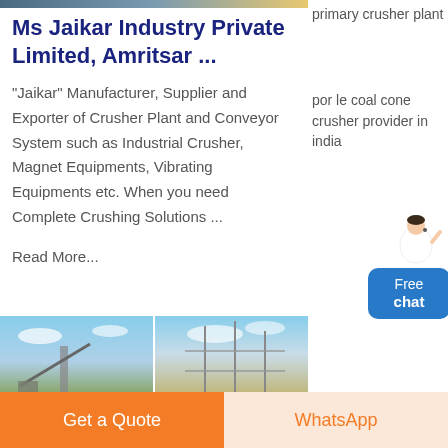Ms Jaikar Industry Private Limited, Amritsar ...
"Jaikar" Manufacturer, Supplier and Exporter of Crusher Plant and Conveyor System such as Industrial Crusher, Magnet Equipments, Vibrating Equipments etc. When you need Complete Crushing Solutions ...
Read More...
primary crusher plant
por le coal cone crusher provider in india
[Figure (photo): Thumbnail photo of industrial crusher/conveyor plant with sky background]
[Figure (photo): Thumbnail photo of industrial structure with scaffolding and blue sky]
[Figure (illustration): Free chat widget with person illustration and blue chat button]
Get a Quote
WhatsApp